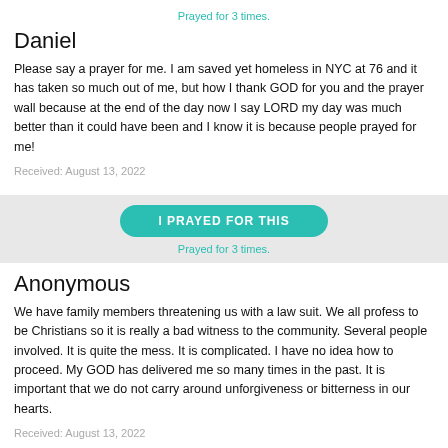Prayed for 3 times.
Daniel
Please say a prayer for me. I am saved yet homeless in NYC at 76 and it has taken so much out of me, but how I thank GOD for you and the prayer wall because at the end of the day now I say LORD my day was much better than it could have been and I know it is because people prayed for me!
Received: August 13, 2022
I PRAYED FOR THIS
Prayed for 3 times.
Anonymous
We have family members threatening us with a law suit. We all profess to be Christians so it is really a bad witness to the community. Several people involved. It is quite the mess. It is complicated. I have no idea how to proceed. My GOD has delivered me so many times in the past. It is important that we do not carry around unforgiveness or bitterness in our hearts.
Received: August 13, 2022